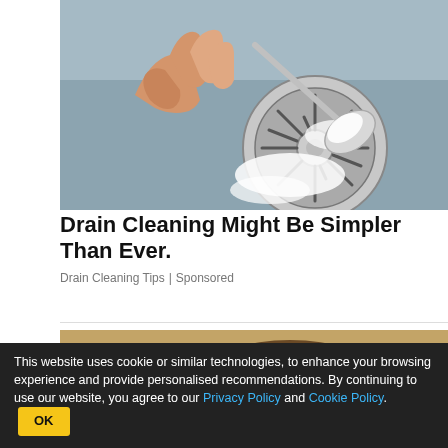[Figure (photo): A hand holding a spoon pouring white powder (baking soda) into a stainless steel sink drain]
Drain Cleaning Might Be Simpler Than Ever.
Drain Cleaning Tips | Sponsored
[Figure (photo): Partial photo of sandal/shoe on sandy ground, partially obscured by an ad overlay]
Back To School Essentials
This website uses cookie or similar technologies, to enhance your browsing experience and provide personalised recommendations. By continuing to use our website, you agree to our Privacy Policy and Cookie Policy. OK